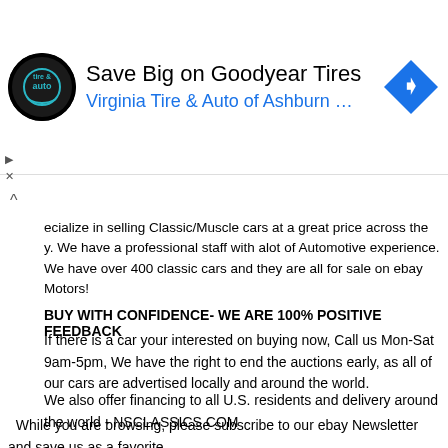[Figure (advertisement): Ad banner: Goodyear Tires logo circle on left, text 'Save Big on Goodyear Tires / Virginia Tire & Auto of Ashburn ...' in center, blue diamond navigation icon on right]
ecialize in selling Classic/Muscle cars at a great price across the y. We have a professional staff with alot of Automotive experience. We have over 400 classic cars and they are all for sale on ebay Motors!
BUY WITH CONFIDENCE- WE ARE 100% POSITIVE FEEDBACK
If there is a car your interested on buying now, Call us Mon-Sat 9am-5pm, We have the right to end the auctions early, as all of our cars are advertised locally and around the world.
We also offer financing to all U.S. residents and delivery around the world - NSCLASSICS.COM
For a view of our Classic cars CLICK HERE to see them all in our ebay Store!
While you are browsing, please subscribe to our ebay Newsletter and save us as a favorite.